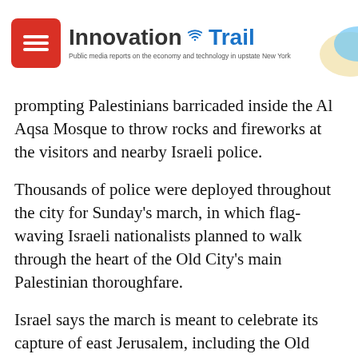InnovationTrail — Public media reports on the economy and technology in upstate New York
prompting Palestinians barricaded inside the Al Aqsa Mosque to throw rocks and fireworks at the visitors and nearby Israeli police.
Thousands of police were deployed throughout the city for Sunday's march, in which flag-waving Israeli nationalists planned to walk through the heart of the Old City's main Palestinian thoroughfare.
Israel says the march is meant to celebrate its capture of east Jerusalem, including the Old City, in the 1967 Mideast war. Israel has annexed east Jerusalem in a move that isn't internationally recognized and claims all of the city as its capital.